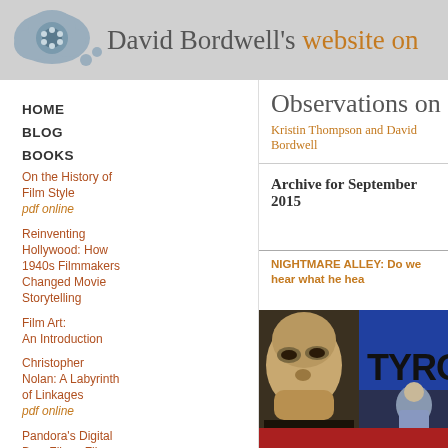David Bordwell's website on
HOME
BLOG
BOOKS
On the History of Film Style pdf online
Reinventing Hollywood: How 1940s Filmmakers Changed Movie Storytelling
Film Art: An Introduction
Christopher Nolan: A Labyrinth of Linkages pdf online
Pandora's Digital Box: Films, Files, and the Future of Movies pdf online
Planet Hong Kong, second edition pdf online
The Way
Observations on fil
Kristin Thompson and David Bordwell
Archive for September 2015
NIGHTMARE ALLEY: Do we hear what he hea
[Figure (photo): Movie poster for Nightmare Alley featuring Tyrone Power and a woman, with bold text TYRO visible]